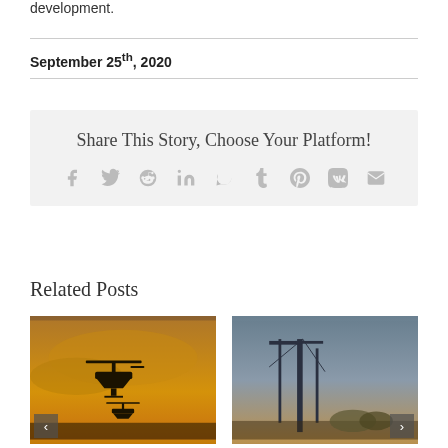development.
September 25th, 2020
Share This Story, Choose Your Platform!
[Figure (other): Social sharing icons: Facebook, Twitter, Reddit, LinkedIn, WhatsApp, Tumblr, Pinterest, VK, Email]
Related Posts
[Figure (photo): Military helicopter silhouette against golden sunset sky]
[Figure (photo): Industrial cranes or structures silhouetted against a blue-grey sky at dusk]